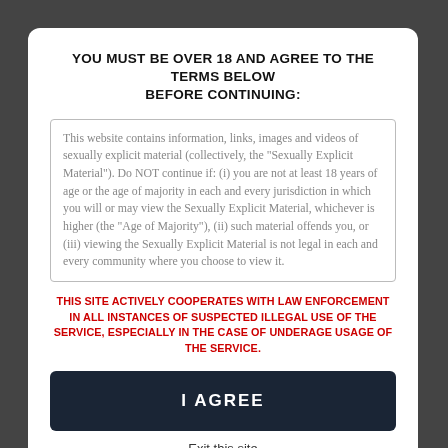YOU MUST BE OVER 18 AND AGREE TO THE TERMS BELOW BEFORE CONTINUING:
This website contains information, links, images and videos of sexually explicit material (collectively, the "Sexually Explicit Material"). Do NOT continue if: (i) you are not at least 18 years of age or the age of majority in each and every jurisdiction in which you will or may view the Sexually Explicit Material, whichever is higher (the "Age of Majority"), (ii) such material offends you, or (iii) viewing the Sexually Explicit Material is not legal in each and every community where you choose to view it.
THIS SITE ACTIVELY COOPERATES WITH LAW ENFORCEMENT IN ALL INSTANCES OF SUSPECTED ILLEGAL USE OF THE SERVICE, ESPECIALLY IN THE CASE OF UNDERAGE USAGE OF THE SERVICE.
I AGREE
Exit this site
[Figure (logo): SafeLabeling logo with checkbox, RTA VERIFIED logo, ASACP APPROVED MEMBER logo]